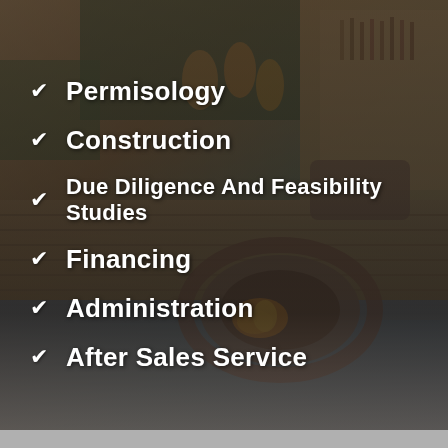[Figure (photo): Background photo of a luxury resort/hotel outdoor area with a pool, fire pit seating area, wooden deck, hanging pendant lights, lounge furniture, and a bar area with bottles visible. The photo has a dark overlay/tint.]
✔ Permisology
✔ Construction
✔ Due Diligence And Feasibility Studies
✔ Financing
✔ Administration
✔ After Sales Service